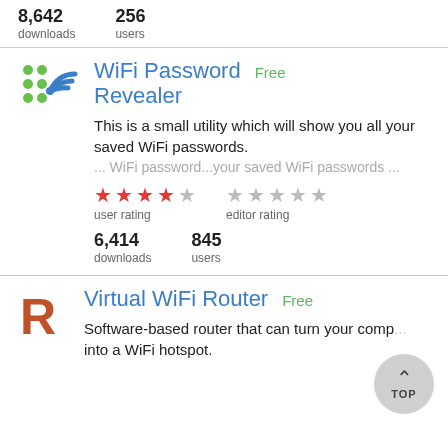8,642 downloads   256 users
WiFi Password Revealer — Free
This is a small utility which will show you all your saved WiFi passwords.
... WiFi password...your saved WiFi passwords ...
user rating (4 stars)  editor rating (1 star)
6,414 downloads   845 users
Virtual WiFi Router — Free
Software-based router that can turn your computer into a WiFi hotspot.